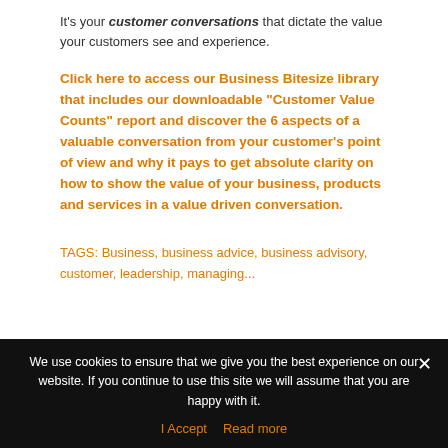It's your customer conversations that dictate the value your customers see and experience.
Click here to access our Business Bitesize library that includes our downloadable "Customer Value Counts" report and discover the 6 aspects of a valuable conversation from your customer's point of view and why it pays to get absolute clarity on how to show the value of your business, products and services in a value driven conversation.
TAGS: Business, business advice, business advisory, customer, leadership, managing...
We use cookies to ensure that we give you the best experience on our website. If you continue to use this site we will assume that you are happy with it.
I Accept   Read more